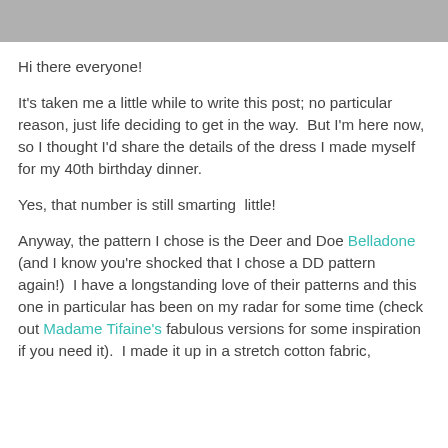[Figure (photo): Partial photo strip at top of page showing people, cropped]
Hi there everyone!
It's taken me a little while to write this post; no particular reason, just life deciding to get in the way.  But I'm here now, so I thought I'd share the details of the dress I made myself for my 40th birthday dinner.
Yes, that number is still smarting  little!
Anyway, the pattern I chose is the Deer and Doe Belladone (and I know you're shocked that I chose a DD pattern again!)  I have a longstanding love of their patterns and this one in particular has been on my radar for some time (check out Madame Tifaine's fabulous versions for some inspiration if you need it).  I made it up in a stretch cotton fabric,